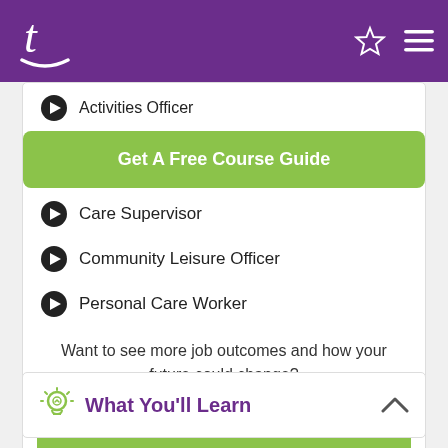Tutorama app header with logo, star and menu icons
Activities Officer
Get A Free Course Guide
Care Supervisor
Community Leisure Officer
Personal Care Worker
Want to see more job outcomes and how your future could change?
Get the Course Guide
What You'll Learn